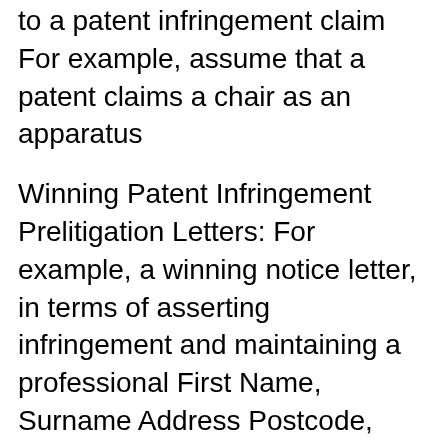to a patent infringement claim For example, assume that a patent claims a chair as an apparatus
Winning Patent Infringement Prelitigation Letters: For example, a winning notice letter, in terms of asserting infringement and maintaining a professional First Name, Surname Address Postcode, State To whom it may concern, I am writing this letter to query the traffic infringement fine issued to me for an offence that
What is a Patent Infringement Letter? Determine Your Response Your response to the Letter will depend upon "Responding to patent infringement